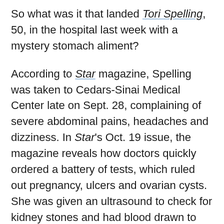So what was it that landed Tori Spelling, 50, in the hospital last week with a mystery stomach aliment?
According to Star magazine, Spelling was taken to Cedars-Sinai Medical Center late on Sept. 28, complaining of severe abdominal pains, headaches and dizziness. In Star's Oct. 19 issue, the magazine reveals how doctors quickly ordered a battery of tests, which ruled out pregnancy, ulcers and ovarian cysts. She was given an ultrasound to check for kidney stones and had blood drawn to test for pelvic inflammatory disease, but these tests also came up negative. With no diagnosis, she was